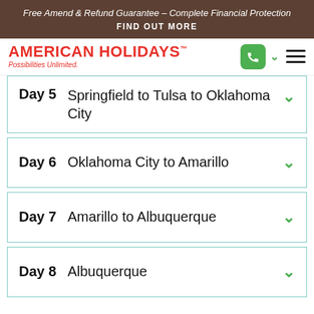Free Amend & Refund Guarantee – Complete Financial Protection
FIND OUT MORE
[Figure (logo): American Holidays logo with text 'AMERICAN HOLIDAYS' in red and 'Possibilities Unlimited.' in italic red below]
Day 5   Springfield to Tulsa to Oklahoma City
Day 6   Oklahoma City to Amarillo
Day 7   Amarillo to Albuquerque
Day 8   Albuquerque